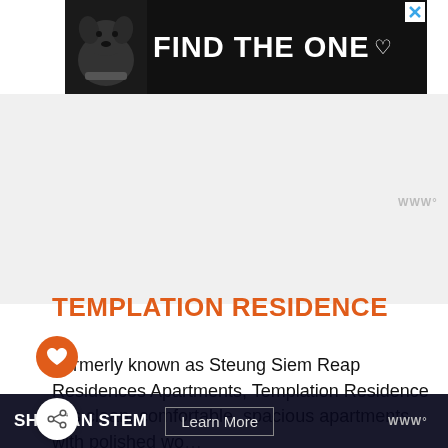[Figure (advertisement): Black ad banner with a dog image on the left and white bold text 'FIND THE ONE' with a heart symbol on the right, and a close button in the top-right corner]
[Figure (other): Large gray/white empty content area representing a loading or blank section of a webpage]
[Figure (logo): Waze-style icon with 'WWW degrees' text in gray, top right area]
TEMPLATION RESIDENCE
Formerly known as Steung Siem Reap Residences Apartments, Templation Residence has clean, comfortable, spacious apartments with polished wo... nies
[Figure (advertisement): Dark bottom bar advertisement with white bold text 'SHE CAN STEM' and a 'Learn More' button, with Waze-style icon on the right]